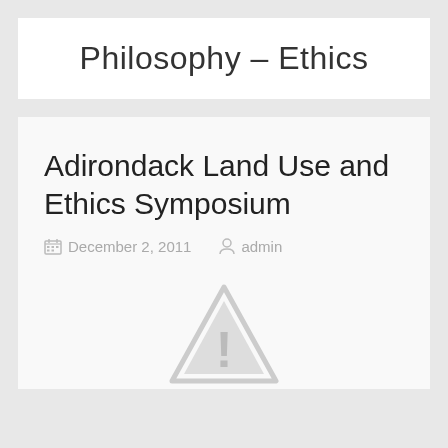Philosophy – Ethics
Adirondack Land Use and Ethics Symposium
December 2, 2011   admin
[Figure (illustration): Gray triangle warning/caution icon with exclamation mark, partially visible at bottom of page]